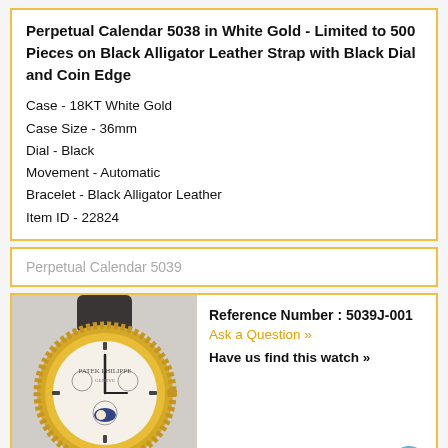Perpetual Calendar 5038 in White Gold - Limited to 500 Pieces on Black Alligator Leather Strap with Black Dial and Coin Edge
Case - 18KT White Gold
Case Size - 36mm
Dial - Black
Movement - Automatic
Bracelet - Black Alligator Leather
Item ID - 22824
Perpetual Calendar 5039
Reference Number : 5039J-001
Ask a Question »
Have us find this watch »
[Figure (photo): Patek Philippe Perpetual Calendar 5039 watch with yellow gold case, coin edge bezel, white dial with moon phase, on dark leather strap]